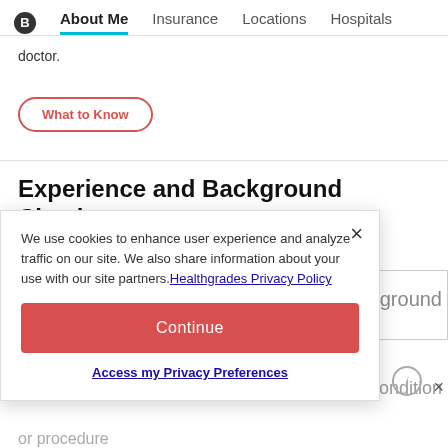About Me | Insurance | Locations | Hospitals
doctor.
What to Know
Experience and Background Checks
We use cookies to enhance user experience and analyze traffic on our site. We also share information about your use with our site partners. Healthgrades Privacy Policy
Continue
Access my Privacy Preferences
kground
condition
or procedure